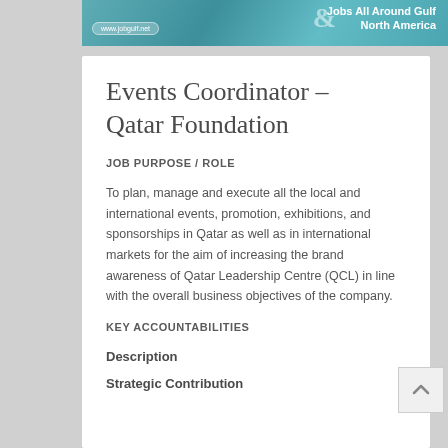[Figure (illustration): Website banner header for jobgulf.net showing teal/blue gradient with text 'Jobs All Around Gulf & North America' and website URL www.jobgulf.net]
Events Coordinator – Qatar Foundation
JOB PURPOSE / ROLE
To plan, manage and execute all the local and international events, promotion, exhibitions, and sponsorships in Qatar as well as in international markets for the aim of increasing the brand awareness of Qatar Leadership Centre (QCL) in line with the overall business objectives of the company.
KEY ACCOUNTABILITIES
Description
Strategic Contribution